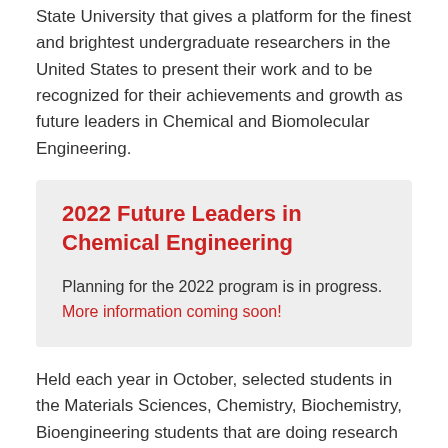State University that gives a platform for the finest and brightest undergraduate researchers in the United States to present their work and to be recognized for their achievements and growth as future leaders in Chemical and Biomolecular Engineering.
2022 Future Leaders in Chemical Engineering
Planning for the 2022 program is in progress. More information coming soon!
Held each year in October, selected students in the Materials Sciences, Chemistry, Biochemistry, Bioengineering students that are doing research related to Chemical and Biomolecular Engineering receive an all-